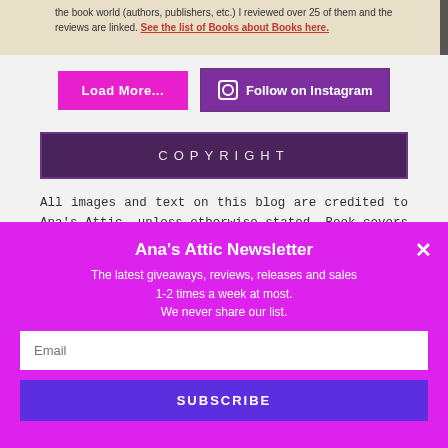[Figure (screenshot): Top portion of a blog page showing text about books and a red link 'See the list of Books about Books here.']
Load More...
Follow on Instagram
COPYRIGHT
All images and text on this blog are credited to Ana's Attic, unless otherwise stated. Book covers are from Amazon.com. Unauthorized use and/or duplication of this material...
Ana's Attic Newsletter
The latest giveaways, reviews, releases and sales
1-2 times a week at most.
We never share our list.
Email
SUBSCRIBE